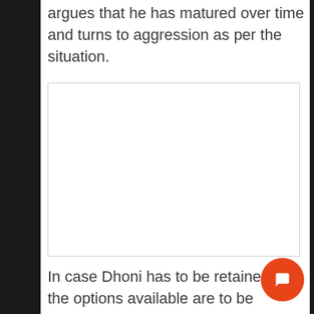argues that he has matured over time and turns to aggression as per the situation.
[Figure (photo): Empty white image placeholder box with a border]
In case Dhoni has to be retained, the options available are to be considered. It is